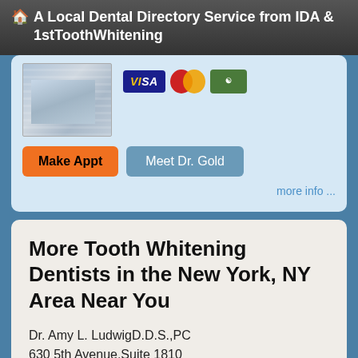🏠 A Local Dental Directory Service from IDA & 1stToothWhitening
[Figure (photo): Partial image of dental equipment (keyboard/tools) in blue-gray tones, with Visa, MasterCard, and Amex payment icons to the right]
Make Appt   Meet Dr. Gold
more info ...
More Tooth Whitening Dentists in the New York, NY Area Near You
Dr. Amy L. LudwigD.D.S.,PC
630 5th Avenue,Suite 1810
New York, NY, 10111
Chen, Chia-Yi D.D.S.
630 W 168th St
New York, NY, 10032-3725